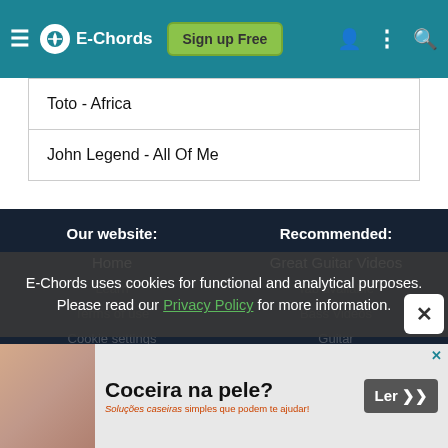E-Chords | Sign up Free
Toto - Africa
John Legend - All Of Me
Our website:
Recommended:
Home
Great Guitar Videos
E-Chords uses cookies for functional and analytical purposes. Please read our Privacy Policy for more information.
Terms of use
Bass Videos
[Figure (screenshot): Advertisement banner: Coceira na pele? Ler>> — Soluções caseiras simples que podem te ajudar!]